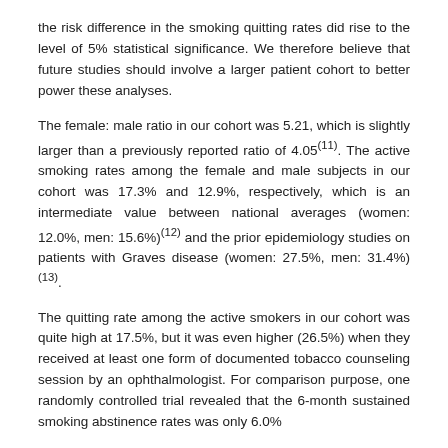the risk difference in the smoking quitting rates did rise to the level of 5% statistical significance. We therefore believe that future studies should involve a larger patient cohort to better power these analyses.
The female: male ratio in our cohort was 5.21, which is slightly larger than a previously reported ratio of 4.05(11). The active smoking rates among the female and male subjects in our cohort was 17.3% and 12.9%, respectively, which is an intermediate value between national averages (women: 12.0%, men: 15.6%)(12) and the prior epidemiology studies on patients with Graves disease (women: 27.5%, men: 31.4%)(13).
The quitting rate among the active smokers in our cohort was quite high at 17.5%, but it was even higher (26.5%) when they received at least one form of documented tobacco counseling session by an ophthalmologist. For comparison purpose, one randomly controlled trial revealed that the 6-month sustained smoking abstinence rates was only 6.0%...